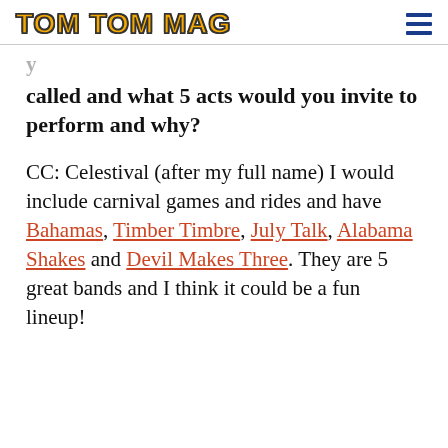TOM TOM MAG
called and what 5 acts would you invite to perform and why?
CC: Celestival (after my full name) I would include carnival games and rides and have Bahamas, Timber Timbre, July Talk, Alabama Shakes and Devil Makes Three. They are 5 great bands and I think it could be a fun lineup!